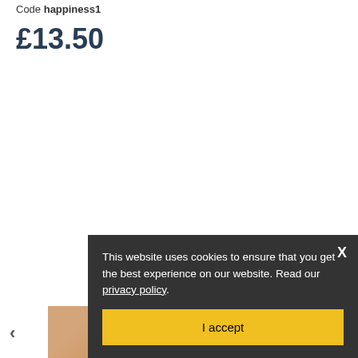Code happiness1
£13.50
This website uses cookies to ensure that you get the best experience on our website. Read our privacy policy.
I accept
[Figure (photo): Thumbnail images of a cat/pet product, shown in a carousel strip at the bottom of the page. Three thumbnail photos visible with navigation arrows on either side.]